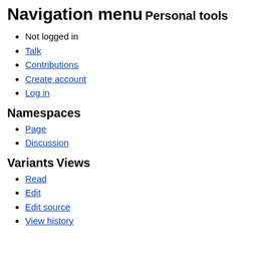Navigation menu
Personal tools
Not logged in
Talk
Contributions
Create account
Log in
Namespaces
Page
Discussion
Variants
Views
Read
Edit
Edit source
View history